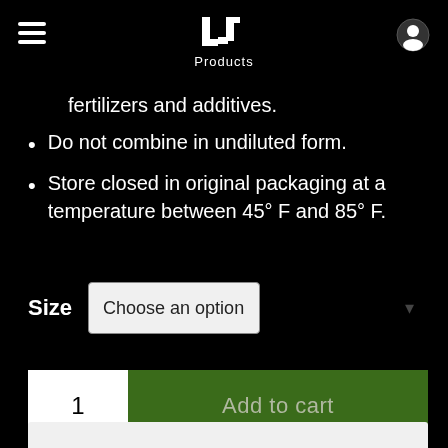LJ Products
fertilizers and additives.
Do not combine in undiluted form.
Store closed in original packaging at a temperature between 45° F and 85° F.
Size  Choose an option
1  Add to cart